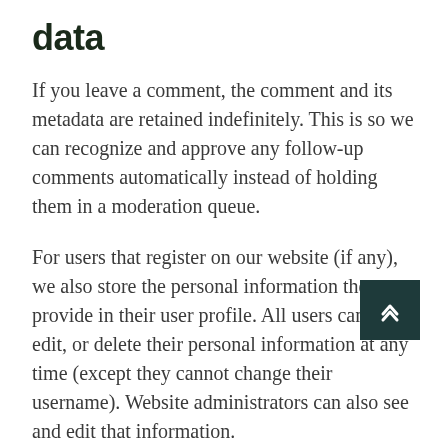data
If you leave a comment, the comment and its metadata are retained indefinitely. This is so we can recognize and approve any follow-up comments automatically instead of holding them in a moderation queue.
For users that register on our website (if any), we also store the personal information they provide in their user profile. All users can see, edit, or delete their personal information at any time (except they cannot change their username). Website administrators can also see and edit that information.
What rights you have over your data
If you have an account on this site, or have left